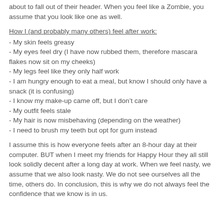about to fall out of their header. When you feel like a Zombie, you assume that you look like one as well.
How I (and probably many others) feel after work:
- My skin feels greasy
- My eyes feel dry (I have now rubbed them, therefore mascara flakes now sit on my cheeks)
- My legs feel like they only half work
- I am hungry enough to eat a meal, but know I should only have a snack (it is confusing)
- I know my make-up came off, but I don’t care
- My outfit feels stale
- My hair is now misbehaving (depending on the weather)
- I need to brush my teeth but opt for gum instead
I assume this is how everyone feels after an 8-hour day at their computer. BUT when I meet my friends for Happy Hour they all still look solidly decent after a long day at work. When we feel nasty, we assume that we also look nasty. We do not see ourselves all the time, others do. In conclusion, this is why we do not always feel the confidence that we know is in us.